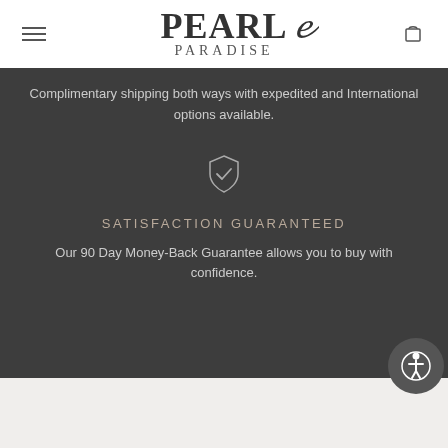[Figure (logo): Pearl Paradise logo with stylized text in serif font]
Complimentary shipping both ways with expedited and International options available.
[Figure (illustration): Shield with checkmark icon]
SATISFACTION GUARANTEED
Our 90 Day Money-Back Guarantee allows you to buy with confidence.
[Figure (illustration): Accessibility button icon with person symbol]